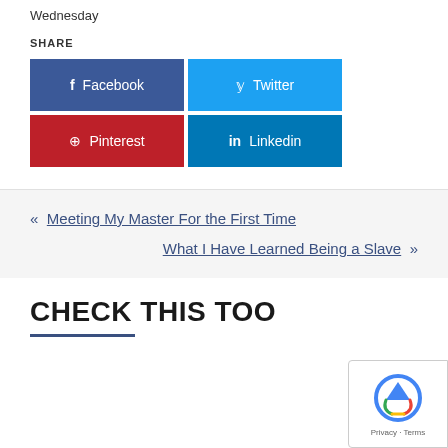Wednesday
SHARE
[Figure (infographic): Social share buttons: Facebook (blue), Twitter (light blue), Pinterest (red), Linkedin (dark blue)]
« Meeting My Master For the First Time
What I Have Learned Being a Slave »
CHECK THIS TOO